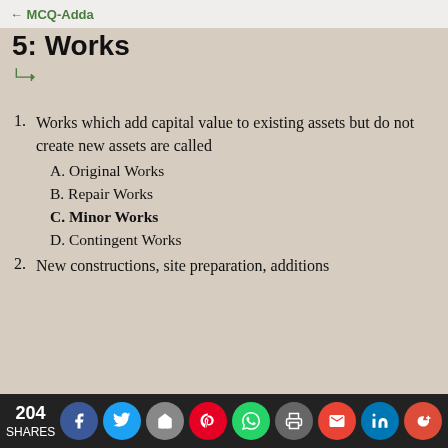← MCQ-Adda
5: Works
1. Works which add capital value to existing assets but do not create new assets are called
  A. Original Works
  B. Repair Works
  C. Minor Works
  D. Contingent Works
2. New constructions, site preparation, additions